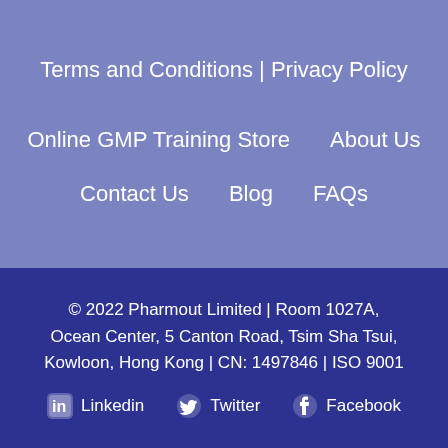Terms and Conditions | Privacy Policy
Online GMP Training Store     About Us
Contact Us     Blog     FAQs
© 2022 Pharmout Limited | Room 1027A, Ocean Center, 5 Canton Road, Tsim Sha Tsui, Kowloon, Hong Kong | CN: 1497846 | ISO 9001
Linkedin   Twitter   Facebook